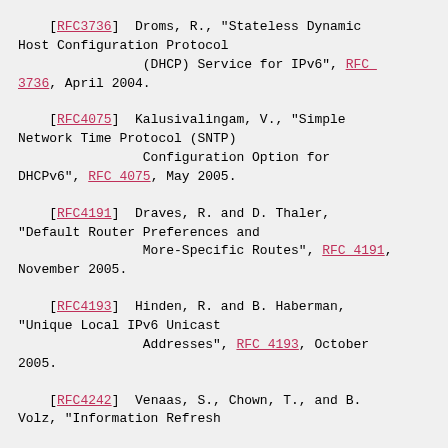[RFC3736]  Droms, R., "Stateless Dynamic Host Configuration Protocol (DHCP) Service for IPv6", RFC 3736, April 2004.
[RFC4075]  Kalusivalingam, V., "Simple Network Time Protocol (SNTP) Configuration Option for DHCPv6", RFC 4075, May 2005.
[RFC4191]  Draves, R. and D. Thaler, "Default Router Preferences and More-Specific Routes", RFC 4191, November 2005.
[RFC4193]  Hinden, R. and B. Haberman, "Unique Local IPv6 Unicast Addresses", RFC 4193, October 2005.
[RFC4242]  Venaas, S., Chown, T., and B. Volz, "Information Refresh...